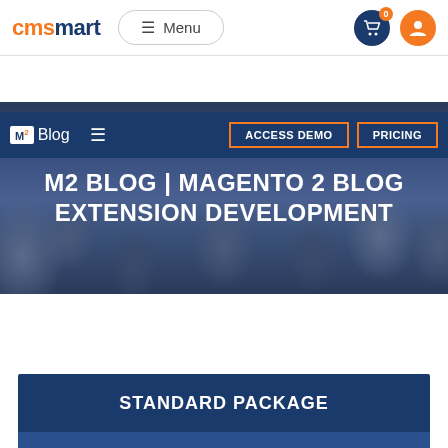[Figure (screenshot): CMSmart website header with orange and dark blue logo, Menu button, cart icon with 0 badge, and user icon]
[Figure (screenshot): Secondary navigation bar in dark blue with M2 Blog logo, hamburger menu, ACCESS DEMO and PRICING buttons with orange borders]
M2 BLOG | MAGENTO 2 BLOG EXTENSION DEVELOPMENT
STANDARD PACKAGE